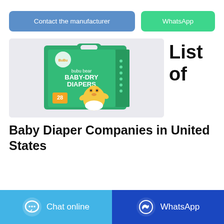[Figure (other): Two buttons: 'Contact the manufacturer' (blue) and 'WhatsApp' (green)]
[Figure (photo): Photo of Bubu Bear Baby-Dry Diapers product box, green packaging with cartoon bear, 28 count]
List of
Baby Diaper Companies in United States
[Figure (other): Bottom bar with 'Chat online' button (light blue) and 'WhatsApp' button (dark blue)]